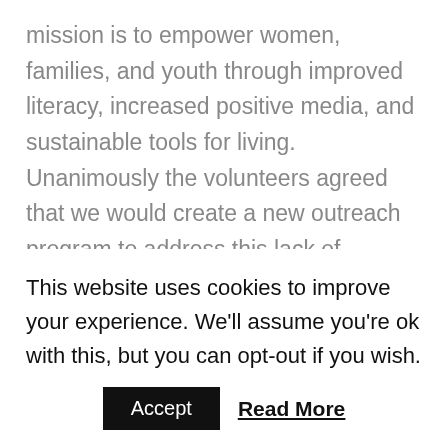mission is to empower women, families, and youth through improved literacy, increased positive media, and sustainable tools for living. Unanimously the volunteers agreed that we would create a new outreach program to address this lack of empowerment and life skill books in places of incarceration. The program has been aptly named “Possibilities for Prisoners Project”. Our goal is to raise a start-up fund of $10,000 to collect, organize, and ship appropriate resources to decrease despair, increase hope, and encourage
This website uses cookies to improve your experience. We'll assume you're ok with this, but you can opt-out if you wish.
Accept
Read More